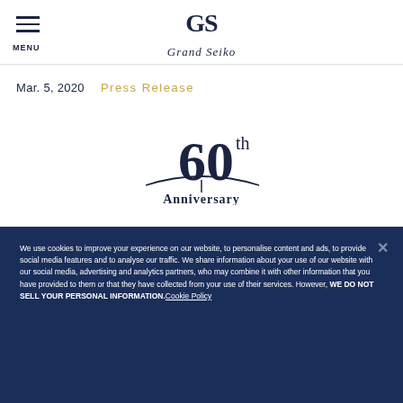MENU | Grand Seiko
Mar. 5, 2020   Press Release
[Figure (logo): Grand Seiko 60th Anniversary logo with decorative arc and vertical line]
We use cookies to improve your experience on our website, to personalise content and ads, to provide social media features and to analyse our traffic. We share information about your use of our website with our social media, advertising and analytics partners, who may combine it with other information that you have provided to them or that they have collected from your use of their services. However, WE DO NOT SELL YOUR PERSONAL INFORMATION. Cookie Policy